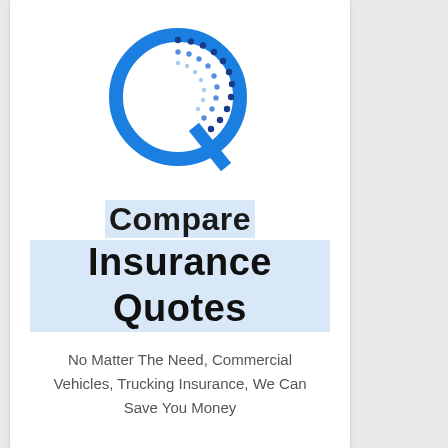[Figure (logo): Quantum Assurance logo — stylized letter Q in blue with dotted circular pattern inside]
Compare Insurance Quotes
No Matter The Need, Commercial Vehicles, Trucking Insurance, We Can Save You Money
Quantum Assurance